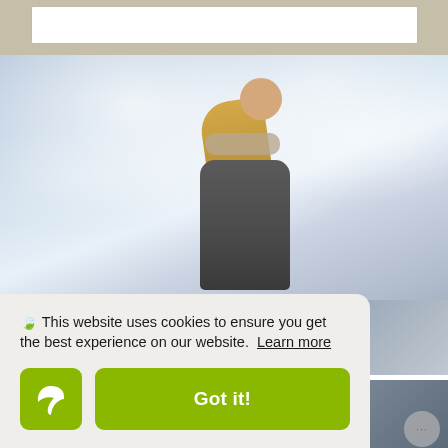[Figure (photo): Top beige/tan background area with white input box, partial page top]
[Figure (photo): Photo of a blonde woman in a dark coat looking to the side, with a dramatic water splash or snow spray in the background. Blue-white tones.]
🍃 This website uses cookies to ensure you get the best experience on our website. Learn more
[Figure (logo): Green rounded square button with a white leaf/eco icon (Ecoisme or similar brand logo)]
Got it!